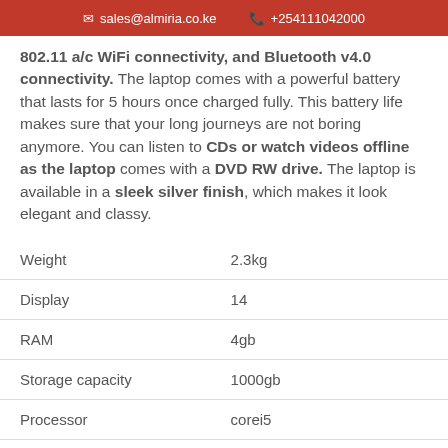sales@almiria.co.ke  +254111042000
802.11 a/c WiFi connectivity, and Bluetooth v4.0 connectivity. The laptop comes with a powerful battery that lasts for 5 hours once charged fully. This battery life makes sure that your long journeys are not boring anymore. You can listen to CDs or watch videos offline as the laptop comes with a DVD RW drive. The laptop is available in a sleek silver finish, which makes it look elegant and classy.
| Weight | 2.3kg |
| Display | 14 |
| RAM | 4gb |
| Storage capacity | 1000gb |
| Processor | corei5 |